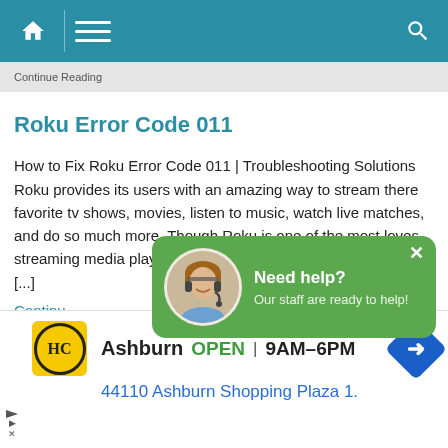Navigation bar with home, menu, and search icons
Continue Reading
Roku Error Code 011
How to Fix Roku Error Code 011 | Troubleshooting Solutions Roku provides its users with an amazing way to stream there favorite tv shows, movies, listen to music, watch live matches, and do so much more. Though Roku is one of the most loves streaming media players, it is certainly not free from errors. It [...]
Continu
[Figure (screenshot): Green popup chat widget showing a support agent avatar with text 'Need help? Our staff are ready to help!' and a close X button]
w to Fix Roku error code rde-1111
Ashburn  OPEN | 9AM–6PM   44110 Ashburn Shopping Plaza 1.